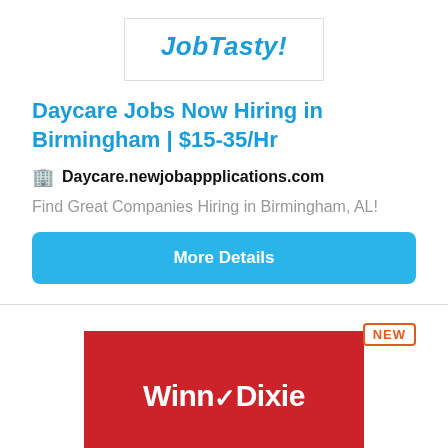[Figure (logo): JobTasty! logo in bold italic blue text inside a bordered box]
Daycare Jobs Now Hiring in Birmingham | $15-35/Hr
Daycare.newjobappplications.com
Find Great Companies Hiring in Birmingham, AL!
More Details
[Figure (logo): Winn-Dixie logo in white text on red background]
NEW